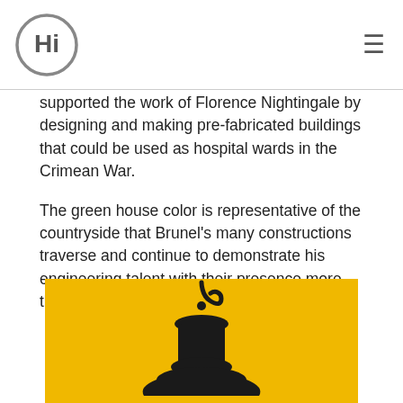HI logo and hamburger menu
supported the work of Florence Nightingale by designing and making pre-fabricated buildings that could be used as hospital wards in the Crimean War.
The green house color is representative of the countryside that Brunel's many constructions traverse and continue to demonstrate his engineering talent with their presence more than 150 years after his death.
[Figure (illustration): Yellow background illustration showing a black silhouette of a hanging lantern with a hook at the top]